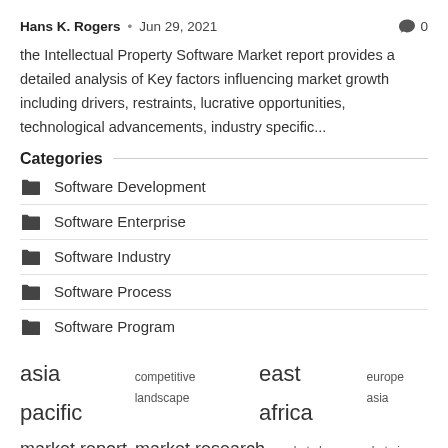Hans K. Rogers • Jun 29, 2021 🗨 0
the Intellectual Property Software Market report provides a detailed analysis of Key factors influencing market growth including drivers, restraints, lucrative opportunities, technological advancements, industry specific...
Categories
Software Development
Software Enterprise
Software Industry
Software Process
Software Program
asia pacific  competitive landscape  east africa  europe asia  market report  market research  market share  market size  middle east  north america  research report